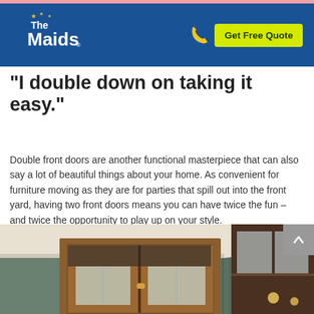[Figure (logo): The Maids logo — white text on blue background with yellow stars]
Get Free Quote
“I double down on taking it easy.”
Double front doors are another functional masterpiece that can also say a lot of beautiful things about your home. As convenient for furniture moving as they are for parties that spill out into the front yard, having two front doors means you can have twice the fun – and twice the opportunity to play up on your style.
[Figure (photo): Interior photo of a home showing wooden double front doors with frosted glass panels, green/teal painted walls, white crown molding, and a glass-front cabinet on the right side.]